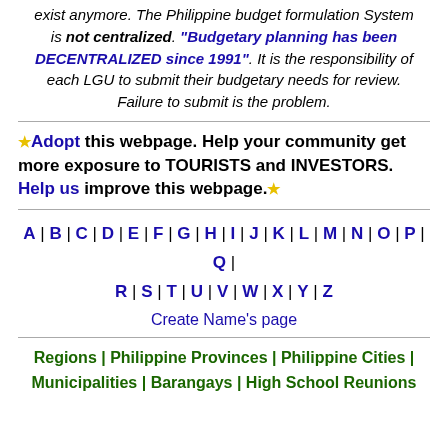exist anymore. The Philippine budget formulation system is not centralized. "Budgetary planning has been DECENTRALIZED since 1991". It is the responsibility of each LGU to submit their budgetary needs for review. Failure to submit is the problem.
Adopt this webpage. Help your community get more exposure to TOURISTS and INVESTORS. Help us improve this webpage.
A | B | C | D | E | F | G | H | I | J | K | L | M | N | O | P | Q | R | S | T | U | V | W | X | Y | Z
Create Name's page
Regions | Philippine Provinces | Philippine Cities | Municipalities | Barangays | High School Reunions